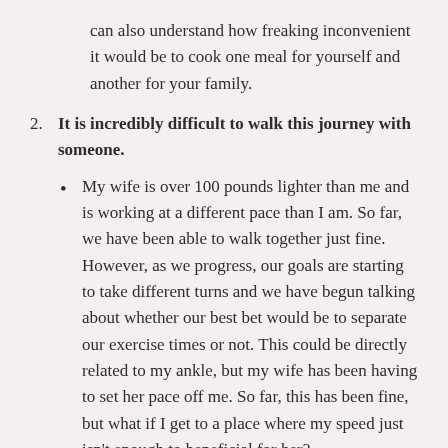can also understand how freaking inconvenient it would be to cook one meal for yourself and another for your family.
2. It is incredibly difficult to walk this journey with someone.
My wife is over 100 pounds lighter than me and is working at a different pace than I am. So far, we have been able to walk together just fine. However, as we progress, our goals are starting to take different turns and we have begun talking about whether our best bet would be to separate our exercise times or not. This could be directly related to my ankle, but my wife has been having to set her pace off me. So far, this has been fine, but what if I get to a place where my speed just isn't enough to beneficial for her?